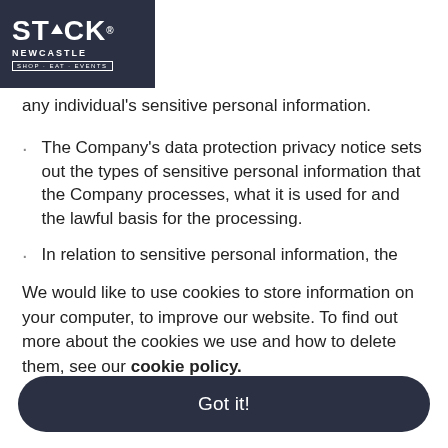[Figure (logo): STACK Newcastle logo — dark navy background with white text. 'STACK' in large bold uppercase with an arrow icon replacing the 'A', below it 'NEWCASTLE' in spaced caps, and a boxed tagline 'SHOP · EAT · EVENTS'.]
any individual's sensitive personal information.
The Company's data protection privacy notice sets out the types of sensitive personal information that the Company processes, what it is used for and the lawful basis for the processing.
In relation to sensitive personal information, the
We would like to use cookies to store information on your computer, to improve our website. To find out more about the cookies we use and how to delete them, see our cookie policy.